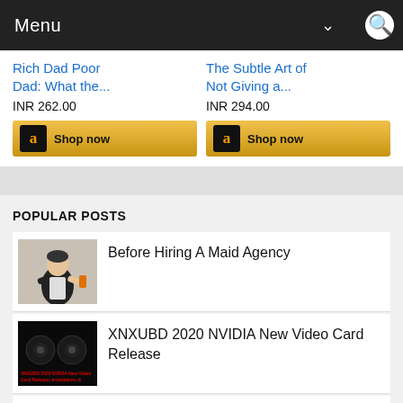Menu
Rich Dad Poor Dad: What the...
INR 262.00
The Subtle Art of Not Giving a...
INR 294.00
POPULAR POSTS
Before Hiring A Maid Agency
XNXUBD 2020 NVIDIA New Video Card Release
Where to Buy CBD Products Near To You